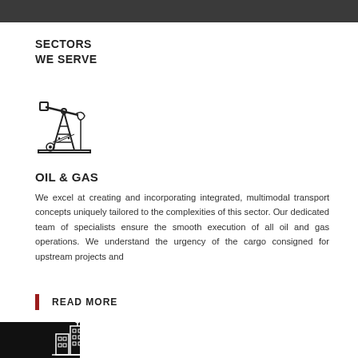SECTORS
WE SERVE
[Figure (illustration): Oil pump jack icon — line drawing of an oil derrick/pump jack]
OIL & GAS
We excel at creating and incorporating integrated, multimodal transport concepts uniquely tailored to the complexities of this sector. Our dedicated team of specialists ensure the smooth execution of all oil and gas operations. We understand the urgency of the cargo consigned for upstream projects and
READ MORE
[Figure (illustration): City/building icon with satellite dish — line drawing of office buildings with communication tower]